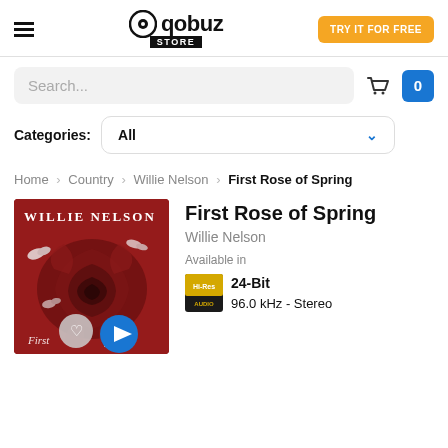Qobuz Store — TRY IT FOR FREE
Search...
Categories: All
Home > Country > Willie Nelson > First Rose of Spring
[Figure (photo): Album cover art for First Rose of Spring by Willie Nelson — deep red rose with butterfly motif on red background, artist name in white text, play and heart buttons overlaid]
First Rose of Spring
Willie Nelson
Available in
24-Bit
96.0 kHz - Stereo